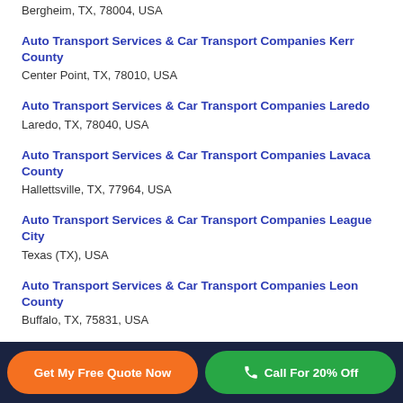Bergheim, TX, 78004, USA
Auto Transport Services & Car Transport Companies Kerr County
Center Point, TX, 78010, USA
Auto Transport Services & Car Transport Companies Laredo
Laredo, TX, 78040, USA
Auto Transport Services & Car Transport Companies Lavaca County
Hallettsville, TX, 77964, USA
Auto Transport Services & Car Transport Companies League City
Texas (TX), USA
Auto Transport Services & Car Transport Companies Leon County
Buffalo, TX, 75831, USA
Get My Free Quote Now
Call For 20% Off